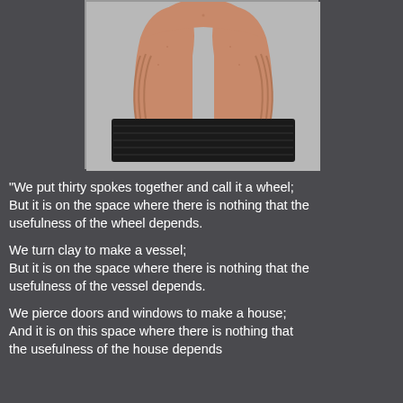[Figure (photo): A terracotta or sandstone sculpture of two hands forming an arch, mounted on a dark rectangular black base, photographed against a light grey background.]
"We put thirty spokes together and call it a wheel; But it is on the space where there is nothing that the usefulness of the wheel depends.

We turn clay to make a vessel; But it is on the space where there is nothing that the usefulness of the vessel depends.

We pierce doors and windows to make a house; And it is on this space where there is nothing that the usefulness of the house depends